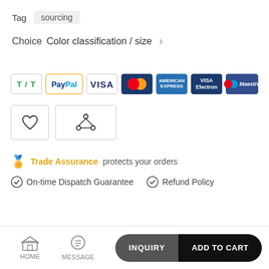Tag  sourcing
Choice  Color classification / size  >
[Figure (other): Payment method icons: T/T, PayPal, VISA, Mastercard, American Express, VISA Electron, Maestro]
[Figure (other): Two icon buttons: heart (wishlist) and share/network icon]
Trade Assurance  protects your orders
On-time Dispatch Guarantee   Refund Policy
HOME  MESSAGE  INQUIRY  ADD TO CART